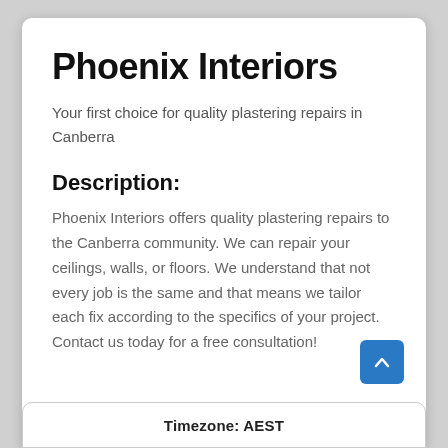Phoenix Interiors
Your first choice for quality plastering repairs in Canberra
Description:
Phoenix Interiors offers quality plastering repairs to the Canberra community. We can repair your ceilings, walls, or floors. We understand that not every job is the same and that means we tailor each fix according to the specifics of your project. Contact us today for a free consultation!
Timezone: AEST